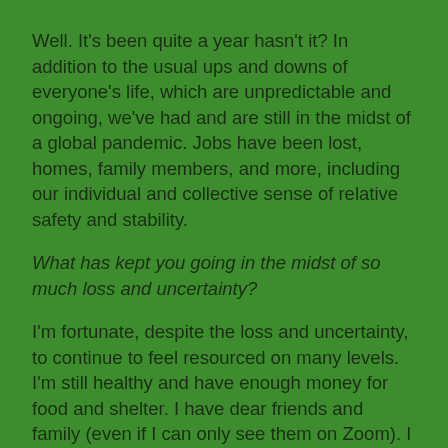Well. It's been quite a year hasn't it? In addition to the usual ups and downs of everyone's life, which are unpredictable and ongoing, we've had and are still in the midst of a global pandemic. Jobs have been lost, homes, family members, and more, including our individual and collective sense of relative safety and stability.
What has kept you going in the midst of so much loss and uncertainty?
I'm fortunate, despite the loss and uncertainty, to continue to feel resourced on many levels. I'm still healthy and have enough money for food and shelter. I have dear friends and family (even if I can only see them on Zoom). I can still go for walks among the trees nearby. I have a mindfulness and